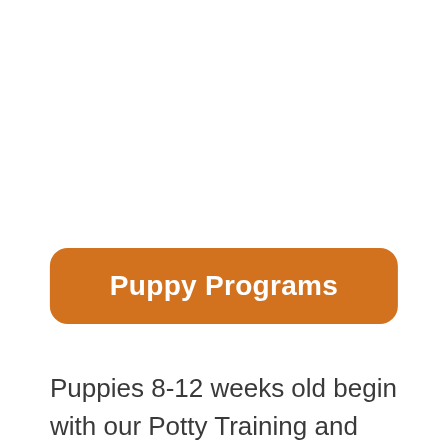Puppy Programs
Puppies 8-12 weeks old begin with our Potty Training and Puppy Development program, then progress into Puppy Preschool (13-20 weeks) and finally enroll in our Pre-K9